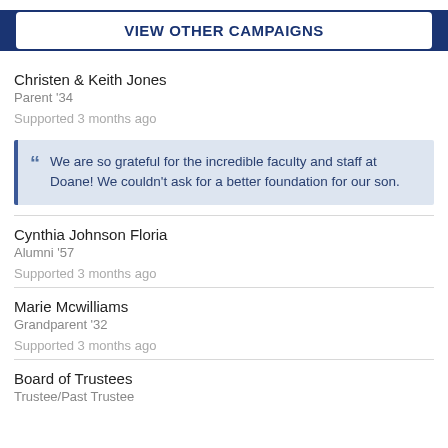VIEW OTHER CAMPAIGNS
Christen & Keith Jones
Parent '34
Supported 3 months ago
We are so grateful for the incredible faculty and staff at Doane! We couldn't ask for a better foundation for our son.
Cynthia Johnson Floria
Alumni '57
Supported 3 months ago
Marie Mcwilliams
Grandparent '32
Supported 3 months ago
Board of Trustees
Trustee/Past Trustee